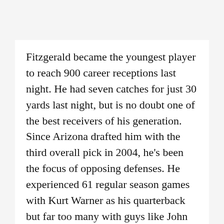Fitzgerald became the youngest player to reach 900 career receptions last night. He had seven catches for just 30 yards last night, but is no doubt one of the best receivers of his generation. Since Arizona drafted him with the third overall pick in 2004, he's been the focus of opposing defenses. He experienced 61 regular season games with Kurt Warner as his quarterback but far too many with guys like John Skelton, Kevin Kolb, Brian Hoyer, Derek Anderson, Max Hall, Matt Leinart, and Josh McCown. After seeing his numbers dip a bit without Palmer this season, he'll now have to adjust to yet another quarterback. Fitzgerald has done this without a whiff of controversy; unlike many of the wideouts of his